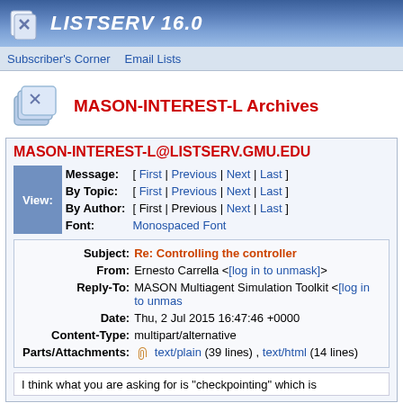LISTSERV 16.0
Subscriber's Corner  Email Lists
MASON-INTEREST-L Archives
MASON-INTEREST-L@LISTSERV.GMU.EDU
|  | Field | Navigation |
| --- | --- | --- |
| View: | Message: | [ First | Previous | Next | Last ] |
|  | By Topic: | [ First | Previous | Next | Last ] |
|  | By Author: | [ First | Previous | Next | Last ] |
|  | Font: | Monospaced Font |
| Field | Value |
| --- | --- |
| Subject: | Re: Controlling the controller |
| From: | Ernesto Carrella <[log in to unmask]> |
| Reply-To: | MASON Multiagent Simulation Toolkit <[log in to unmask]> |
| Date: | Thu, 2 Jul 2015 16:47:46 +0000 |
| Content-Type: | multipart/alternative |
| Parts/Attachments: | text/plain (39 lines) , text/html (14 lines) |
I think what you are asking for is "checkpointing" which is